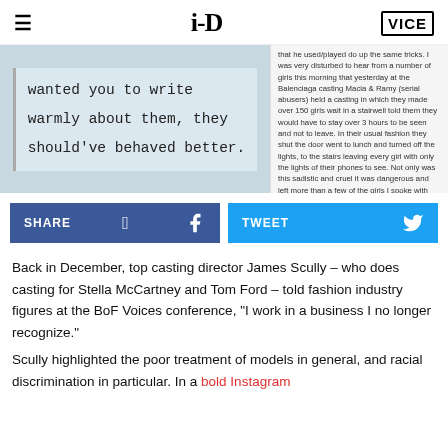i-D / VICE
[Figure (photo): Two-panel image: left side shows a typewriter-typed note reading 'wanted you to write warmly about them, they should've behaved better.' on lined paper; right side shows a text excerpt about Balenciaga casting abuse allegations by Macia & Ramy.]
[Figure (screenshot): Share bar with Facebook SHARE button (blue) and Twitter TWEET button (light blue)]
Back in December, top casting director James Scully – who does casting for Stella McCartney and Tom Ford – told fashion industry figures at the BoF Voices conference, "I work in a business I no longer recognize."
Scully highlighted the poor treatment of models in general, and racial discrimination in particular. In a bold Instagram